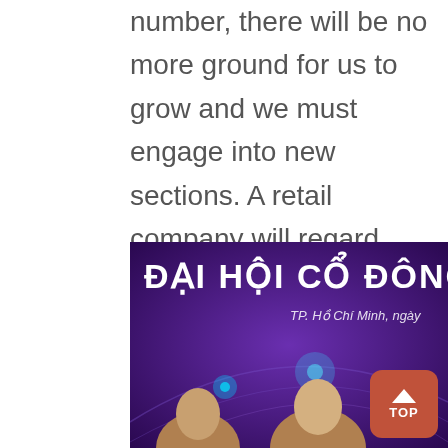number, there will be no more ground for us to grow and we must engage into new sections. A retail company will regard processes, retailing experiences and chain management experience as their business "know how" to be applied into new sections.
[Figure (photo): Photo of a shareholder meeting (Đại Hội Cổ Đông) in Ho Chi Minh City, with purple backdrop banner and two people seated at a table]